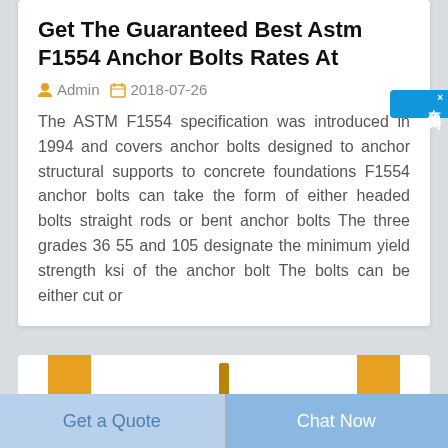Get The Guaranteed Best Astm F1554 Anchor Bolts Rates At
Admin   2018-07-26
The ASTM F1554 specification was introduced in 1994 and covers anchor bolts designed to anchor structural supports to concrete foundations F1554 anchor bolts can take the form of either headed bolts straight rods or bent anchor bolts The three grades 36 55 and 105 designate the minimum yield strength ksi of the anchor bolt The bolts can be either cut or
[Figure (photo): Partial view of a product image showing yellow/gold vertical bars on left and right edges and a small anchor bolt or fastener in the center]
Get a Quote
Chat Now